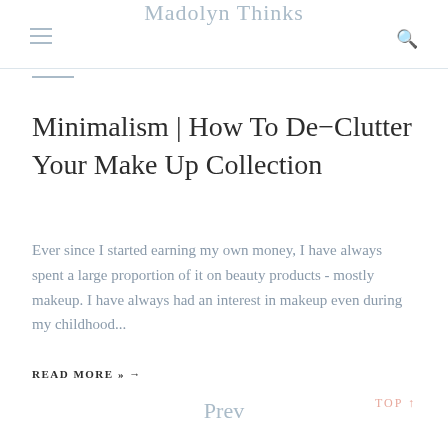Madolyn Thinks
Minimalism | How To De-Clutter Your Make Up Collection
Ever since I started earning my own money, I have always spent a large proportion of it on beauty products - mostly makeup. I have always had an interest in makeup even during my childhood...
READ MORE » →
TOP ↑
Prev